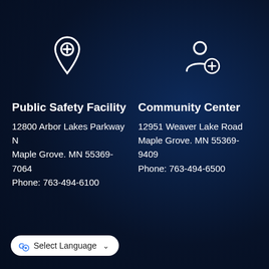[Figure (infographic): Two white icons on dark navy background: left is a map pin with a plus sign inside; right is a person with a plus sign (add person icon)]
Public Safety Facility
12800 Arbor Lakes Parkway N Maple Grove. MN 55369-7064 Phone: 763-494-6100
Community Center
12951 Weaver Lake Road Maple Grove. MN 55369-9409 Phone: 763-494-6500
Select Language